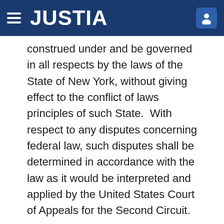JUSTIA
construed under and be governed in all respects by the laws of the State of New York, without giving effect to the conflict of laws principles of such State.  With respect to any disputes concerning federal law, such disputes shall be determined in accordance with the law as it would be interpreted and applied by the United States Court of Appeals for the Second Circuit.
18.        Successor to Company.  The Company shall require any successor